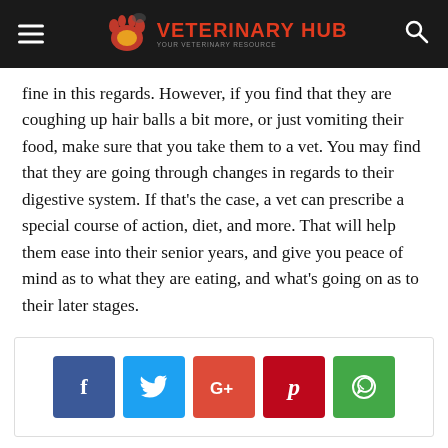VETERINARY HUB
fine in this regards. However, if you find that they are coughing up hair balls a bit more, or just vomiting their food, make sure that you take them to a vet. You may find that they are going through changes in regards to their digestive system. If that's the case, a vet can prescribe a special course of action, diet, and more. That will help them ease into their senior years, and give you peace of mind as to what they are eating, and what's going on as to their later stages.
[Figure (other): Social media share buttons: Facebook, Twitter, Google+, Pinterest, WhatsApp]